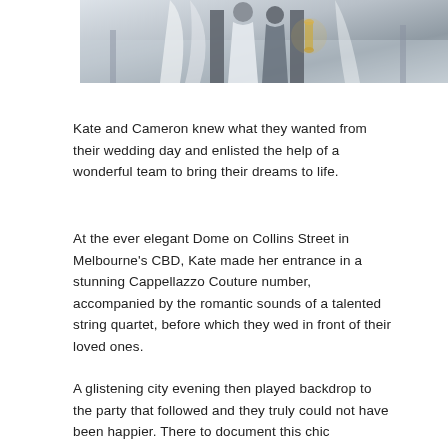[Figure (photo): Wedding couple photo, bride in white veil and groom, elegant setting with architectural elements and warm lighting]
Kate and Cameron knew what they wanted from their wedding day and enlisted the help of a wonderful team to bring their dreams to life.
At the ever elegant Dome on Collins Street in Melbourne's CBD, Kate made her entrance in a stunning Cappellazzo Couture number, accompanied by the romantic sounds of a talented string quartet, before which they wed in front of their loved ones.
A glistening city evening then played backdrop to the party that followed and they truly could not have been happier. There to document this chic celebration in all its glory was Tribe favourite